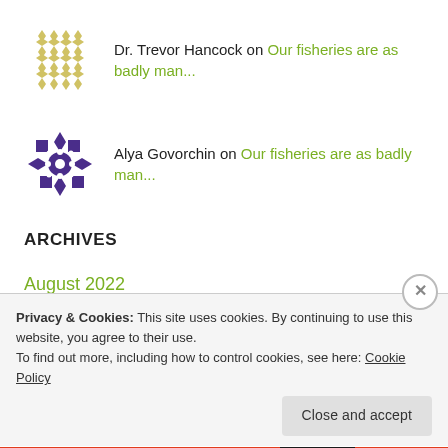[Figure (illustration): Gold geometric diamond/star pattern avatar for Dr. Trevor Hancock]
Dr. Trevor Hancock on Our fisheries are as badly man...
[Figure (illustration): Purple geometric snowflake/flower pattern avatar for Alya Govorchin]
Alya Govorchin on Our fisheries are as badly man...
ARCHIVES
August 2022
July 2022
Privacy & Cookies: This site uses cookies. By continuing to use this website, you agree to their use. To find out more, including how to control cookies, see here: Cookie Policy
Close and accept